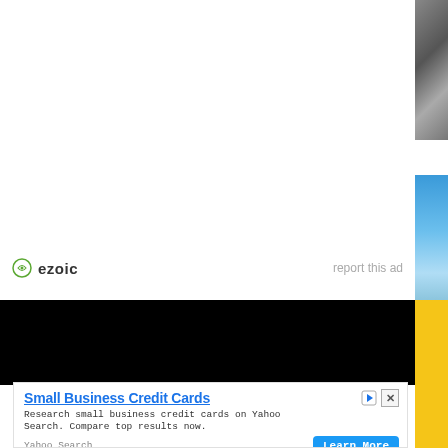[Figure (other): White advertisement area with ezoic branding and 'report this ad' text]
report this ad
[Figure (photo): Black video/media area]
[Figure (screenshot): Advertisement: Small Business Credit Cards - Yahoo Search ad with Learn More button]